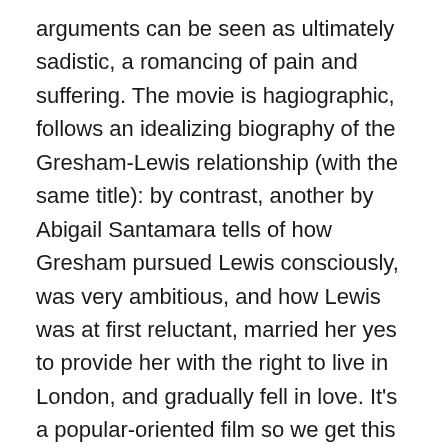arguments can be seen as ultimately sadistic, a romancing of pain and suffering. The movie is hagiographic, follows an idealizing biography of the Gresham-Lewis relationship (with the same title): by contrast, another by Abigail Santamara tells of how Gresham pursued Lewis consciously, was very ambitious, and how Lewis was at first reluctant, married her yes to provide her with the right to live in London, and gradually fell in love. It's a popular-oriented film so we get this reductive idea Lewis was simply cold, inhibited, in retreat, not daring risks like the figure in The Roman de la Rose (which he lectures on), and Joy brought him out of this. She is presented probably as she was — slightly obnoxious, rude in her bluntness. But the romance is very well done, the script intelligent, tasteful — the history of Joy's cancer; the diagnosis, first radiation treatments, the remission, the return and then